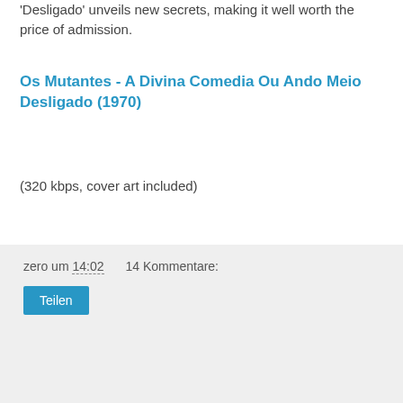Desligado' unveils new secrets, making it well worth the price of admission.
Os Mutantes - A Divina Comedia Ou Ando Meio Desligado (1970)
(320 kbps, cover art included)
zero um 14:02    14 Kommentare:
Teilen
Donnerstag, 22. Oktober 2020
Sun Ra - Sound Mirror (1978)
[Figure (photo): Album cover of Sun Ra - Sound Mirror (1978), showing a light beige/tan cover with purple stylized text.]